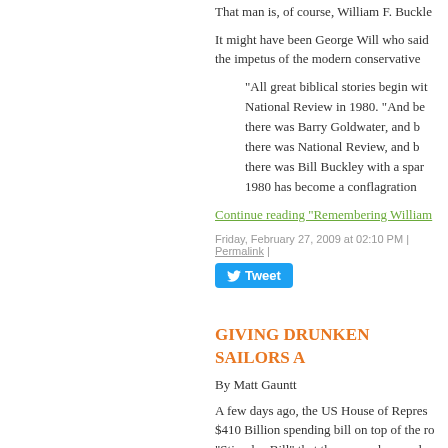That man is, of course, William F. Buckle
It might have been George Will who said the impetus of the modern conservative
"All great biblical stories begin wi... National Review in 1980. "And be... there was Barry Goldwater, and b... there was National Review, and b... there was Bill Buckley with a spar... 1980 has become a conflagration
Continue reading "Remembering William
Friday, February 27, 2009 at 02:10 PM | Permalink |
Tweet
GIVING DRUNKEN SAILORS A
By Matt Gauntt
A few days ago, the US House of Repres... $410 Billion spending bill on top of the ro... "Stimulus Bill" that they passed a couple... some time going through the earmarks th...
Taxpayers for Common Sense has a set